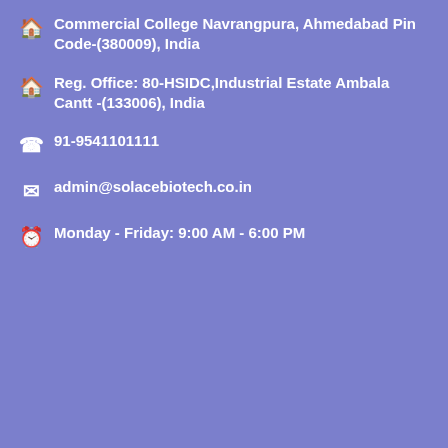Commercial College Navrangpura, Ahmedabad Pin Code-(380009), India
Reg. Office: 80-HSIDC,Industrial Estate Ambala Cantt -(133006), India
91-9541101111
admin@solacebiotech.co.in
Monday - Friday: 9:00 AM - 6:00 PM